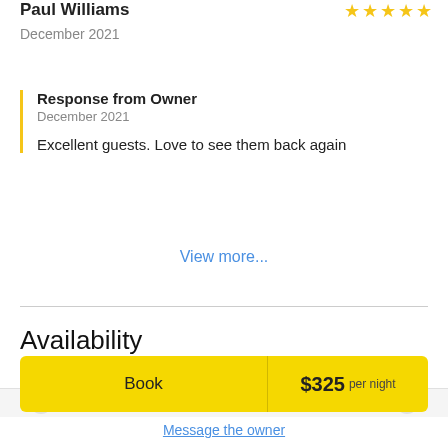Paul Williams
December 2021
Response from Owner
December 2021
Excellent guests. Love to see them back again
View more...
Availability
Book   $325 per night
Message the owner